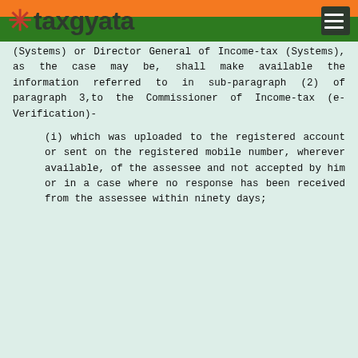taxgyata
(Systems) or Director General of Income-tax (Systems), as the case may be, shall make available the information referred to in sub-paragraph (2) of paragraph 3,to the Commissioner of Income-tax (e-Verification)-
(i) which was uploaded to the registered account or sent on the registered mobile number, wherever available, of the assessee and not accepted by him or in a case where no response has been received from the assessee within ninety days;